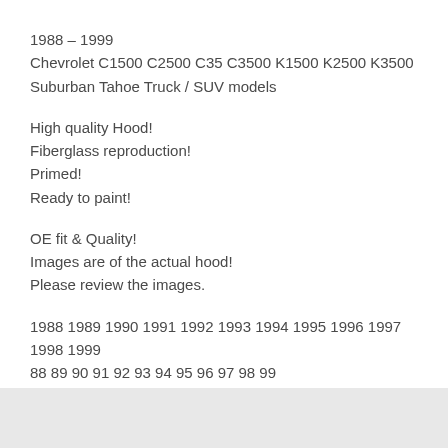1988 – 1999
Chevrolet C1500 C2500 C35 C3500 K1500 K2500 K3500
Suburban Tahoe Truck / SUV models
High quality Hood!
Fiberglass reproduction!
Primed!
Ready to paint!
OE fit & Quality!
Images are of the actual hood!
Please review the images.
1988 1989 1990 1991 1992 1993 1994 1995 1996 1997 1998 1999
88 89 90 91 92 93 94 95 96 97 98 99